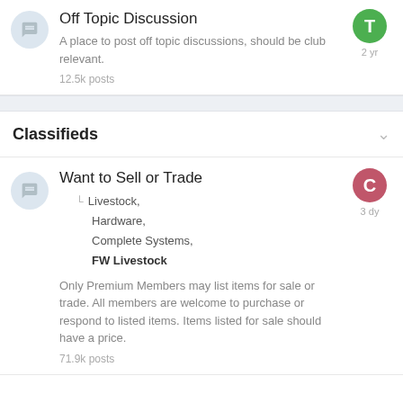Off Topic Discussion — A place to post off topic discussions, should be club relevant. 12.5k posts
Classifieds
Want to Sell or Trade — Livestock, Hardware, Complete Systems, FW Livestock. Only Premium Members may list items for sale or trade. All members are welcome to purchase or respond to listed items. Items listed for sale should have a price. 71.9k posts